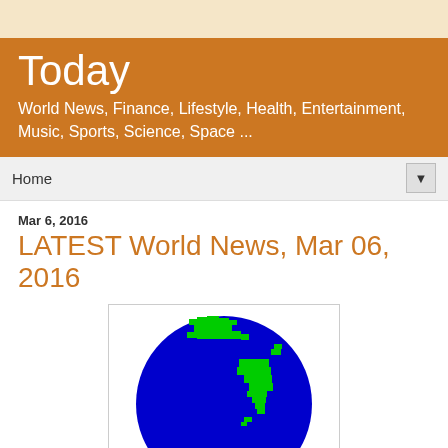Today
World News, Finance, Lifestyle, Health, Entertainment, Music, Sports, Science, Space ...
Home
Mar 6, 2016
LATEST World News, Mar 06, 2016
[Figure (illustration): Pixelated 3D globe illustration showing Earth with blue oceans and green landmasses (North America visible), rendered in a blocky/pixel art style.]